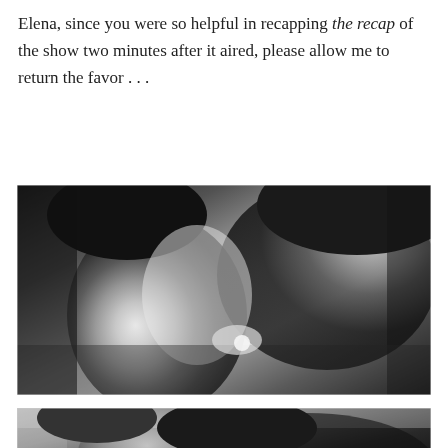Elena, since you were so helpful in recapping the recap of the show two minutes after it aired, please allow me to return the favor . . .
[Figure (photo): Black and white close-up photograph of a couple about to kiss, woman wearing a ring, facing each other intimately]
[Figure (photo): Black and white photograph of a couple in an intimate embrace, partially cropped at bottom of page]